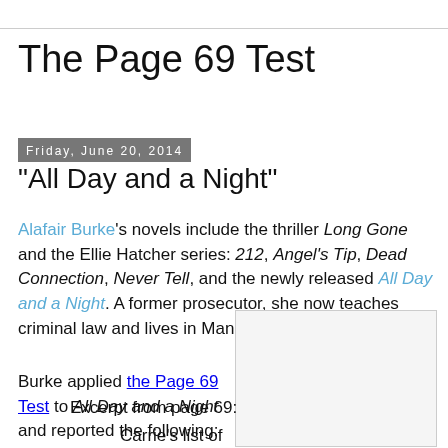The Page 69 Test
Friday, June 20, 2014
"All Day and a Night"
Alafair Burke's novels include the thriller Long Gone and the Ellie Hatcher series: 212, Angel's Tip, Dead Connection, Never Tell, and the newly released All Day and a Night. A former prosecutor, she now teaches criminal law and lives in Manhattan.
[Figure (photo): Book cover image placeholder]
Burke applied the Page 69 Test to All Day and a Night and reported the following:
Excerpt from page 69:
Carrie's list of